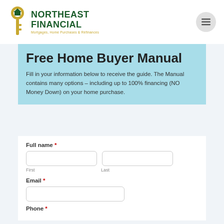NORTHEAST FINANCIAL — Mortgages, Home Purchases & Refinances
Free Home Buyer Manual
Fill in your information below to receive the guide. The Manual contains many options – including up to 100% financing (NO Money Down) on your home purchase.
Full name *
First | Last
Email *
Phone *